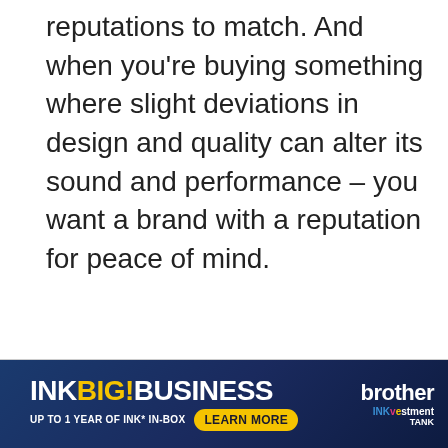reputations to match. And when you're buying something where slight deviations in design and quality can alter its sound and performance – you want a brand with a reputation for peace of mind.
[Figure (other): Brother INKvestment Tank advertisement banner. Dark blue background. Left side: 'INK BIG! BUSINESS' in large bold text (INK BIG! in white and yellow, BUSINESS in white), with subtext 'UP TO 1 YEAR OF INK* IN-BOX' and a yellow rounded 'Learn More' button. Right side: 'brother' logo in white with 'INKvestment TANK' branding in multicolor (blue, magenta, yellow).]